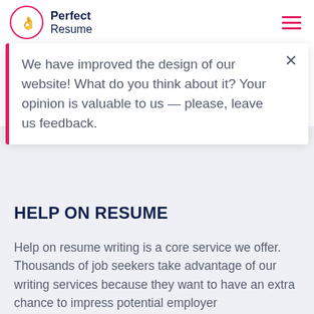Perfect Resume
We have improved the design of our website! What do you think about it? Your opinion is valuable to us — please, leave us feedback.
HELP ON RESUME
Help on resume writing is a core service we offer. Thousands of job seekers take advantage of our writing services because they want to have an extra chance to impress potential employer